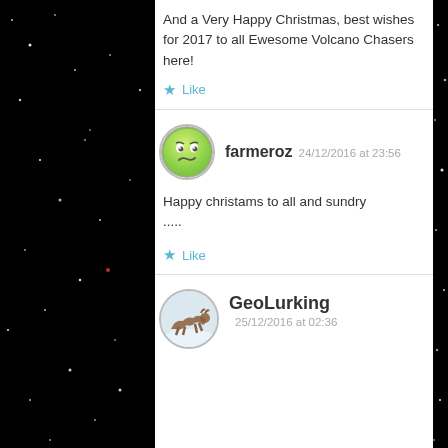And a Very Happy Christmas, best wishes for 2017 to all Ewesome Volcano Chasers here!
★ Like
[Figure (illustration): Avatar for user farmeroz: green cartoon smiley face with skeptical expression]
farmeroz 24/12/2016 at 23:56
Happy christams to all and sundry
.....
★ Like
[Figure (photo): Avatar for user GeoLurking: photo of an animal (possibly a dog or deer) jumping in snowy outdoor scene]
GeoLurking
25/12/2016 at 02:36